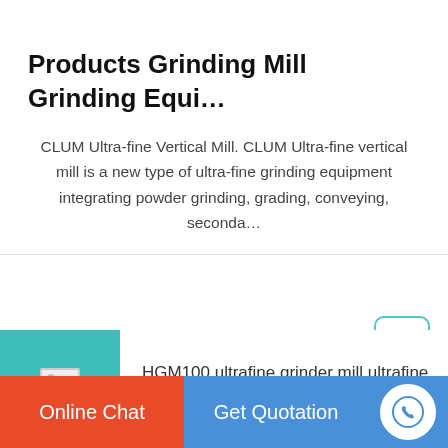Products Grinding Mill Grinding Equi…
CLUM Ultra-fine Vertical Mill. CLUM Ultra-fine vertical mill is a new type of ultra-fine grinding equipment integrating powder grinding, grading, conveying, seconda…
[Figure (other): Scroll-to-top button with upward arrow icon, teal/cyan border]
[Figure (photo): Teal thumbnail image placeholder for HGM100 ultrafine grinder mill]
HGM100 ultrafine grinder mill ultrafine grinding mill
Online Chat
Get Quotation
[Figure (other): Phone icon in white circle on blue background]